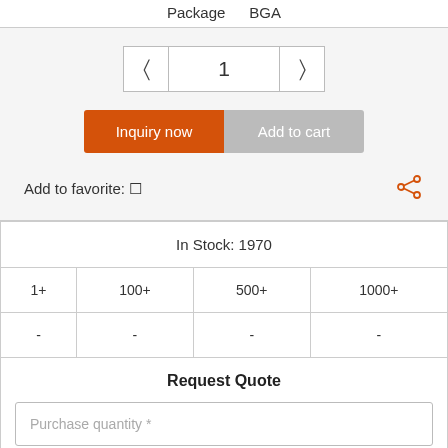Package    BGA
1
Inquiry now
Add to cart
Add to favorite: ☆
| In Stock: 1970 |
| --- |
| 1+ | 100+ | 500+ | 1000+ |
| - | - | - | - |
Request Quote
Purchase quantity *
E-mail *